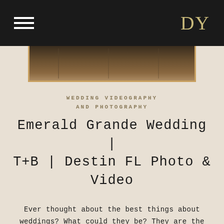DY
[Figure (photo): Partial view of a framed wedding or event photo strip with dark brown and gold tones]
WEDDING VIDEOGRAPHY AND PHOTOGRAPHY
Emerald Grande Wedding | T+B | Destin FL Photo & Video
Ever thought about the best things about weddings? What could they be? They are the adorable and loved-up couples; the wedding cakes; the glamorous makeover; wedding dresses; and, above all, the